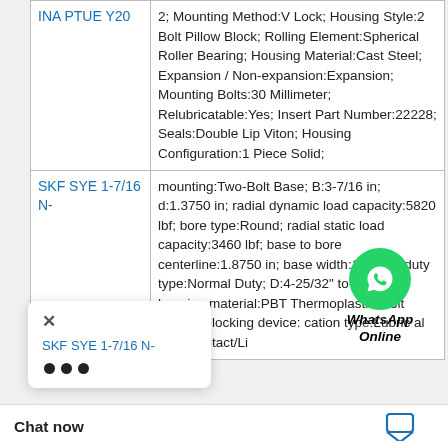| Product | Specifications |
| --- | --- |
| INA PTUE Y20 | 2; Mounting Method:V Lock; Housing Style:2 Bolt Pillow Block; Rolling Element:Spherical Roller Bearing; Housing Material:Cast Steel; Expansion / Non-expansion:Expansion; Mounting Bolts:30 Millimeter; Relubricatable:Yes; Insert Part Number:22228; Seals:Double Lip Viton; Housing Configuration:1 Piece Solid; |
| SKF SYE 1-7/16 N- | mounting:Two-Bolt Base; B:3-7/16 in; d:1.3750 in; radial dynamic load capacity:5820 lbf; bore type:Round; radial static load capacity:3460 lbf; base to bore centerline:1.8750 in; base width:1-7/8 in; duty type:Normal Duty; D:4-25/32" to 5-7/32"; housing material:PBT Thermoplastic; bolt size:1/2; locking device: cation type:Lubric al type:Contact/Li |
[Figure (logo): WhatsApp Online overlay with green phone icon circle and italic bold text 'WhatsApp Online']
SKF SYE 1-7/16 N-
Chat now